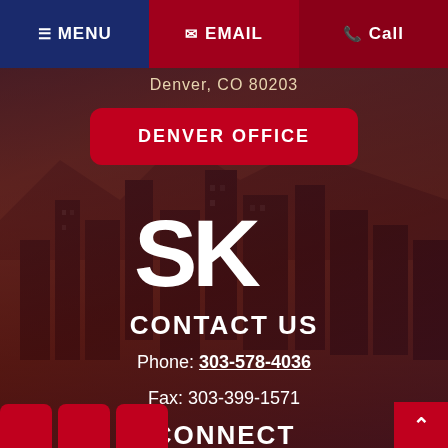MENU  EMAIL  Call
Denver, CO 80203
DENVER OFFICE
[Figure (logo): SK law firm logo — large white stylized letters S and K]
CONTACT US
Phone: 303-578-4036
Fax: 303-399-1571
CONNECT